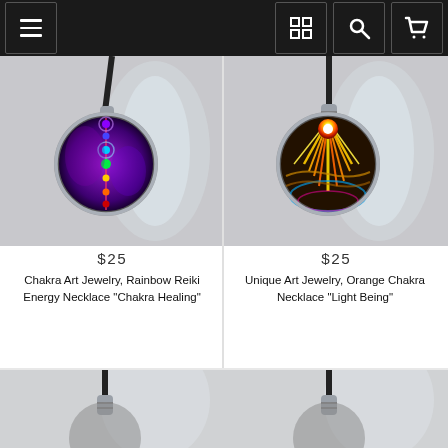Navigation bar with menu, grid view, search, and cart icons
[Figure (photo): Pendant necklace with circular purple chakra art showing rainbow energy points on dark background, hung on black cord, with glass bottle in background]
$25
Chakra Art Jewelry, Rainbow Reiki Energy Necklace "Chakra Healing"
[Figure (photo): Pendant necklace with circular orange and yellow sunburst chakra art showing light being with rainbow colors, hung on black cord, with glass bottle in background]
$25
Unique Art Jewelry, Orange Chakra Necklace "Light Being"
[Figure (photo): Partial view of another pendant necklace on black cord with glass bottle, bottom of page cropped]
[Figure (photo): Partial view of another pendant necklace on black cord with glass bottle, bottom of page cropped]